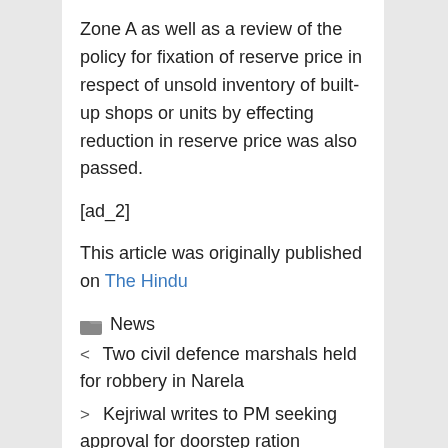Zone A as well as a review of the policy for fixation of reserve price in respect of unsold inventory of built-up shops or units by effecting reduction in reserve price was also passed.
[ad_2]
This article was originally published on The Hindu
News
< Two civil defence marshals held for robbery in Narela
> Kejriwal writes to PM seeking approval for doorstep ration